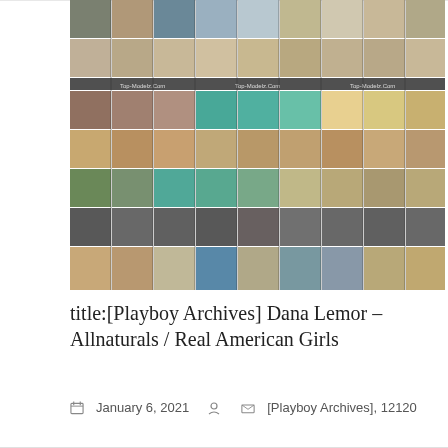[Figure (photo): Mosaic/collage thumbnail grid of multiple photographs arranged in 7 rows × 9 columns. Contains watermarks reading 'Top-Modelz.Com' at three positions across the bottom of the image set.]
title:[Playboy Archives] Dana Lemor – Allnaturals / Real American Girls
January 6, 2021    [Playboy Archives], 12120